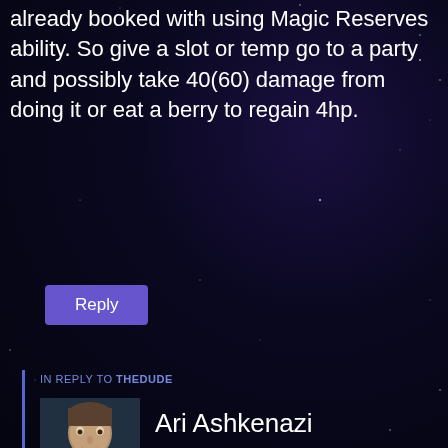already booked with using Magic Reserves ability. So give a slot or temp go to a party and possibly take 40(60) damage from doing it or eat a berry to regain 4hp.
Reply
IN REPLY TO THEDUDE
Ari Ashkenazi
December 13, 2019 at 10:42 am
You are correct in combat goodberry is very slow. However, the time when you'd conduct this maneuver would be between combats, when you have essentially unlimited actions...